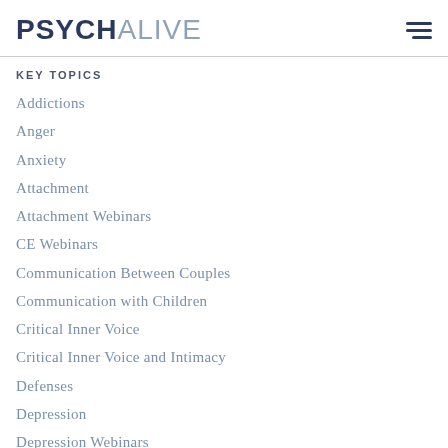PSYCHALIVE
KEY TOPICS
Addictions
Anger
Anxiety
Attachment
Attachment Webinars
CE Webinars
Communication Between Couples
Communication with Children
Critical Inner Voice
Critical Inner Voice and Intimacy
Defenses
Depression
Depression Webinars
Differentiation
Discipline